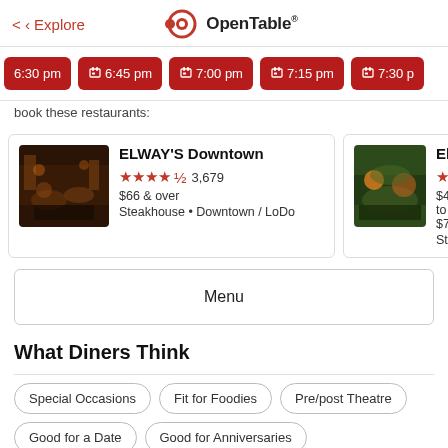< Explore   OpenTable
[Figure (screenshot): Row of red time-slot booking buttons: 6:30 pm, 6:45 pm, 7:00 pm, 7:15 pm, 7:30 pm (partially visible)]
book these restaurants:
[Figure (screenshot): Restaurant card: ELWAY'S Downtown, 4.5 stars, 3,679 reviews, $66 & over, Steakhouse • Downtown / LoDo, with warm interior photo]
[Figure (screenshot): Partially visible restaurant card: Elway, 4 stars, $41 to $7..., Steakhou..., with group dining photo]
Menu
What Diners Think
Special Occasions
Fit for Foodies
Pre/post Theatre
Good for a Date
Good for Anniversaries